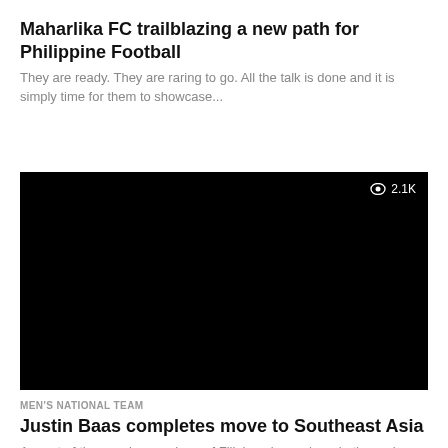Maharlika FC trailblazing a new path for Philippine Football
They are ready. They are raring to go. All the talk is done and it is simply time for them to showcase...
[Figure (screenshot): Black video thumbnail with eye icon and view count 2.1K in top right corner]
MEN'S NATIONAL TEAM
Justin Baas completes move to Southeast Asia
As part of the growing numbers of Filipino players here in the region, Justin Baas became the most recent addition to the...